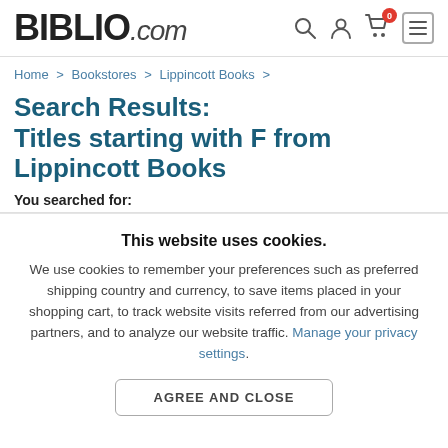BIBLIO.com
Home > Bookstores > Lippincott Books >
Search Results: Titles starting with F from Lippincott Books
You searched for:
This website uses cookies.
We use cookies to remember your preferences such as preferred shipping country and currency, to save items placed in your shopping cart, to track website visits referred from our advertising partners, and to analyze our website traffic. Manage your privacy settings.
AGREE AND CLOSE